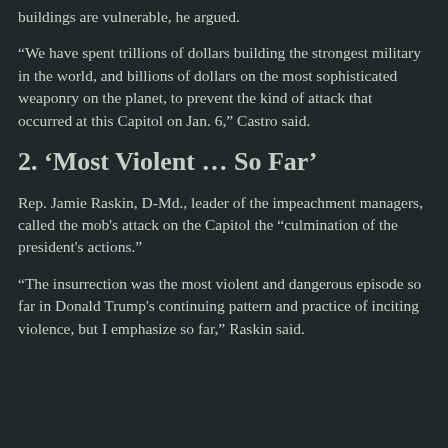buildings are vulnerable, he argued.
“We have spent trillions of dollars building the strongest military in the world, and billions of dollars on the most sophisticated weaponry on the planet, to prevent the kind of attack that occurred at this Capitol on Jan. 6,” Castro said.
2. ‘Most Violent … So Far’
Rep. Jamie Raskin, D-Md., leader of the impeachment managers, called the mob's attack on the Capitol the “culmination of the president's actions.”
“The insurrection was the most violent and dangerous episode so far in Donald Trump's continuing pattern and practice of inciting violence, but I emphasize so far,” Raskin said.